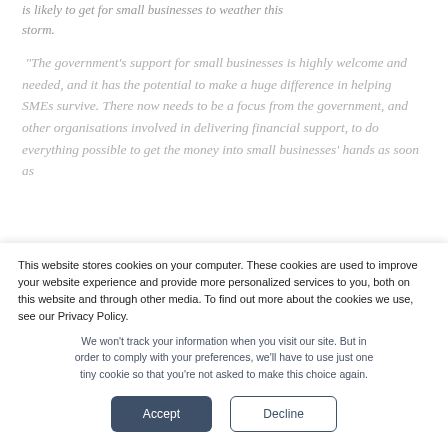is likely to get for small businesses to weather this storm.
“The government’s support for small businesses is highly welcome and needed, and it has the potential to make a huge difference in helping SMEs survive. There now needs to be a focus from the government, and other organisations involved in delivering financial support, to do everything possible to get the money into small businesses’ hands as soon as
This website stores cookies on your computer. These cookies are used to improve your website experience and provide more personalized services to you, both on this website and through other media. To find out more about the cookies we use, see our Privacy Policy.
We won’t track your information when you visit our site. But in order to comply with your preferences, we’ll have to use just one tiny cookie so that you’re not asked to make this choice again.
Accept
Decline